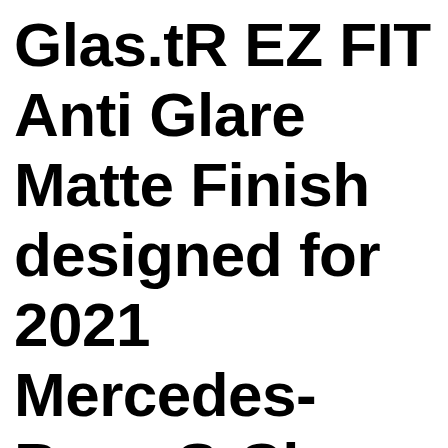Glas.tR EZ FIT Anti Glare Matte Finish designed for 2021 Mercedes-Benz S-Class Spigen Tempered Gla...